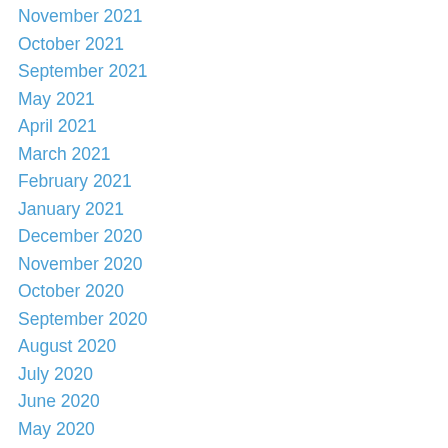November 2021
October 2021
September 2021
May 2021
April 2021
March 2021
February 2021
January 2021
December 2020
November 2020
October 2020
September 2020
August 2020
July 2020
June 2020
May 2020
April 2020
March 2020
February 2020
January 2020